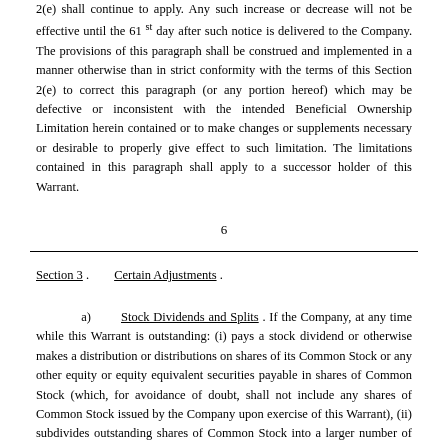2(e) shall continue to apply. Any such increase or decrease will not be effective until the 61st day after such notice is delivered to the Company. The provisions of this paragraph shall be construed and implemented in a manner otherwise than in strict conformity with the terms of this Section 2(e) to correct this paragraph (or any portion hereof) which may be defective or inconsistent with the intended Beneficial Ownership Limitation herein contained or to make changes or supplements necessary or desirable to properly give effect to such limitation. The limitations contained in this paragraph shall apply to a successor holder of this Warrant.
6
Section 3 .    Certain Adjustments .
a)    Stock Dividends and Splits . If the Company, at any time while this Warrant is outstanding: (i) pays a stock dividend or otherwise makes a distribution or distributions on shares of its Common Stock or any other equity or equity equivalent securities payable in shares of Common Stock (which, for avoidance of doubt, shall not include any shares of Common Stock issued by the Company upon exercise of this Warrant), (ii) subdivides outstanding shares of Common Stock into a larger number of shares, (iii) combines (including by way of reverse stock split) outstanding shares of Common Stock into a smaller number of shares or (iv) issues by